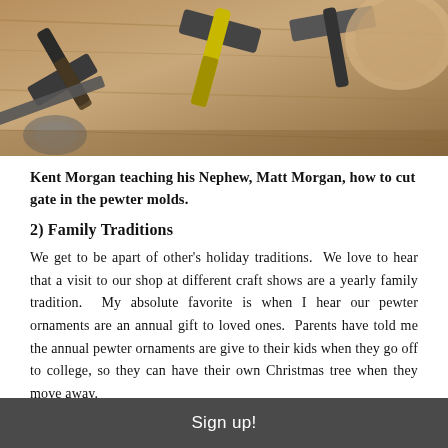[Figure (photo): A top-down photo of various tools including hammers and other metalworking implements laid out on a wooden surface.]
Kent Morgan teaching his Nephew, Matt Morgan, how to cut gate in the pewter molds.
2) Family Traditions
We get to be apart of other's holiday traditions.  We love to hear that a visit to our shop at different craft shows are a yearly family tradition.  My absolute favorite is when I hear our pewter ornaments are an annual gift to loved ones.  Parents have told me the annual pewter ornaments are give to their kids when they go off to college, so they can have their own Christmas tree when they move away.
Sign up!